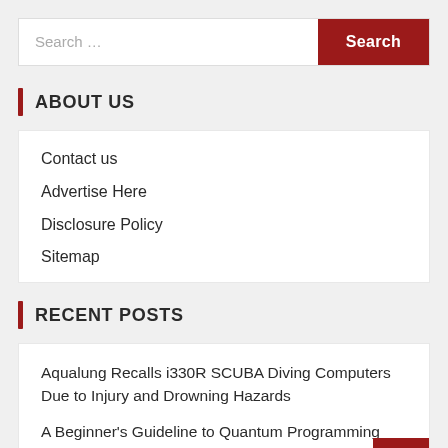Search ...
ABOUT US
Contact us
Advertise Here
Disclosure Policy
Sitemap
RECENT POSTS
Aqualung Recalls i330R SCUBA Diving Computers Due to Injury and Drowning Hazards
A Beginner's Guideline to Quantum Programming
3M Announces Plans to Create Long Term Value